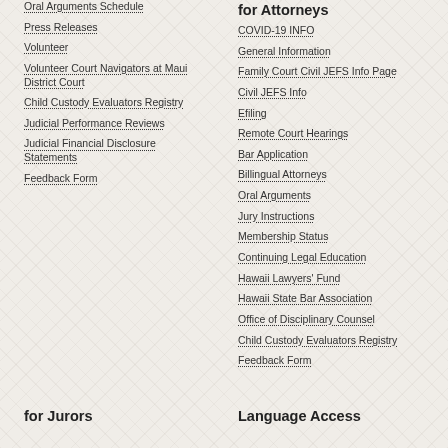Oral Arguments Schedule
Press Releases
Volunteer
Volunteer Court Navigators at Maui District Court
Child Custody Evaluators Registry
Judicial Performance Reviews
Judicial Financial Disclosure Statements
Feedback Form
for Attorneys
COVID-19 INFO
General Information
Family Court Civil JEFS Info Page
Civil JEFS Info
Efiling
Remote Court Hearings
Bar Application
Billingual Attorneys
Oral Arguments
Jury Instructions
Membership Status
Continuing Legal Education
Hawaii Lawyers' Fund
Hawaii State Bar Association
Office of Disciplinary Counsel
Child Custody Evaluators Registry
Feedback Form
for Jurors
Language Access